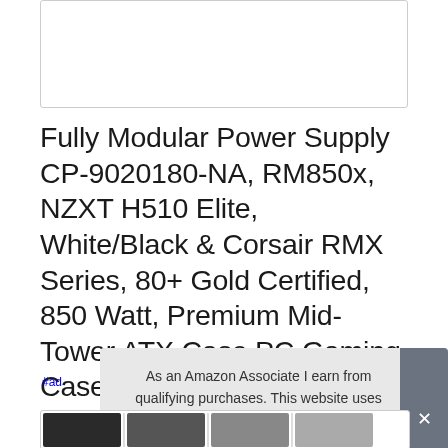[Figure (photo): Product image placeholder box, white rectangle with border]
Fully Modular Power Supply CP-9020180-NA, RM850x, NZXT H510 Elite, White/Black & Corsair RMX Series, 80+ Gold Certified, 850 Watt, Premium Mid-Tower ATX Case PC Gaming Case, CA-H510E-W1
#ad
As an Amazon Associate I earn from qualifying purchases. This website uses the only necessary cookies to ensure you get the best experience on our website. More information
[Figure (photo): Product thumbnail strip showing multiple product images]